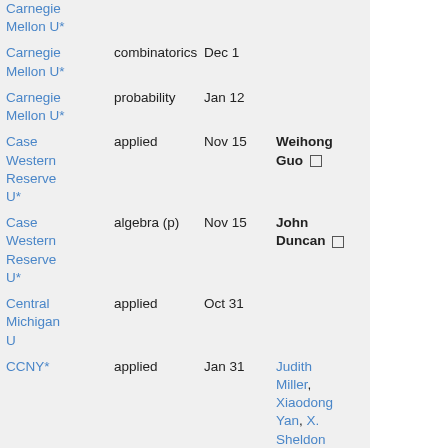| Institution | Area | Date | Contact |
| --- | --- | --- | --- |
| Carnegie Mellon U* |  |  |  |
| Carnegie Mellon U* | combinatorics | Dec 1 |  |
| Carnegie Mellon U* | probability | Jan 12 |  |
| Case Western Reserve U* | applied | Nov 15 | Weihong Guo □ |
| Case Western Reserve U* | algebra (p) | Nov 15 | John Duncan □ |
| Central Michigan U | applied | Oct 31 |  |
| CCNY* | applied | Jan 31 | Judith Miller, Xiaodong Yan, X. Sheldon Wang, |